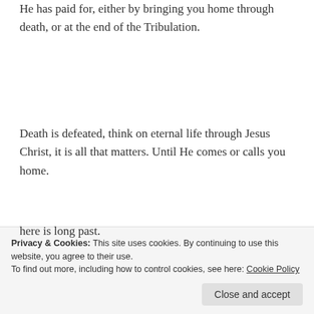He has paid for, either by bringing you home through death, or at the end of the Tribulation.
Death is defeated, think on eternal life through Jesus Christ, it is all that matters. Until He comes or calls you home.
Like
Reply
Privacy & Cookies: This site uses cookies. By continuing to use this website, you agree to their use.
To find out more, including how to control cookies, see here: Cookie Policy
Close and accept
here is long past.